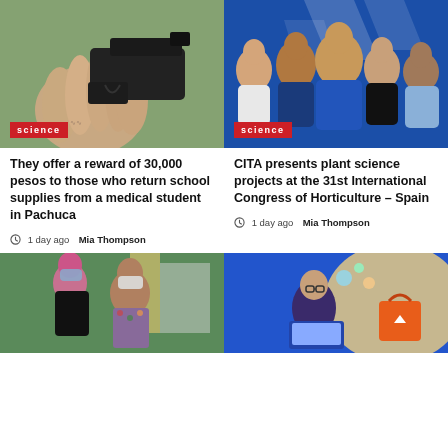[Figure (photo): Close-up of a hand holding a black handgun, with a science category badge in red]
[Figure (photo): Group of people standing in front of a blue background with geometric white shapes, science category badge]
They offer a reward of 30,000 pesos to those who return school supplies from a medical student in Pachuca
1 day ago  Mia Thompson
CITA presents plant science projects at the 31st International Congress of Horticulture – Spain
1 day ago  Mia Thompson
[Figure (photo): Two women wearing face masks outdoors, one with pink hair]
[Figure (illustration): Colorful illustration of a woman looking at a laptop with bubbles and an orange shopping bag icon]